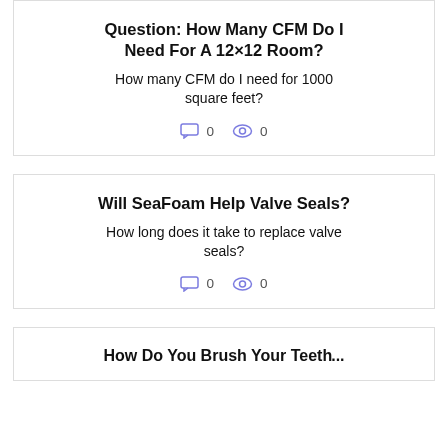Question: How Many CFM Do I Need For A 12×12 Room?
How many CFM do I need for 1000 square feet?
0 comments  0 views
Will SeaFoam Help Valve Seals?
How long does it take to replace valve seals?
0 comments  0 views
How Do You Brush Your Teeth...